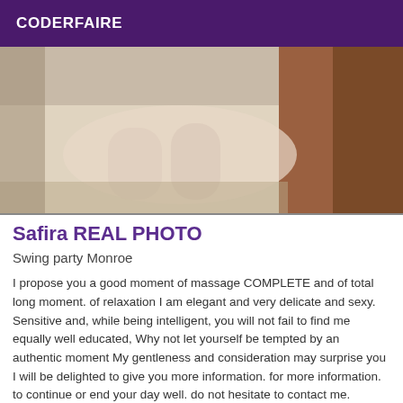CODERFAIRE
[Figure (photo): Cropped photo showing a person's legs/lower body near furniture, beige/brown tones]
Safira REAL PHOTO
Swing party Monroe
I propose you a good moment of massage COMPLETE and of total long moment. of relaxation I am elegant and very delicate and sexy. Sensitive and, while being intelligent, you will not fail to find me equally well educated, Why not let yourself be tempted by an authentic moment My gentleness and consideration may surprise you I will be delighted to give you more information. for more information. to continue or end your day well. do not hesitate to contact me.